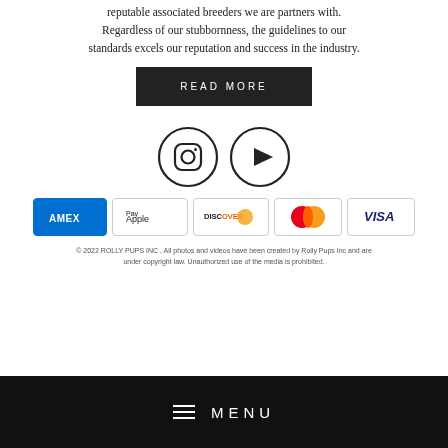reputable associated breeders we are partners with. Regardless of our stubbornness, the guidelines to our standards excels our reputation and success in the industry.
READ MORE
[Figure (illustration): Two circular social media icons: Instagram (camera icon) and YouTube (play button icon), both outlined in black on white background.]
[Figure (illustration): Five payment method badges: AMEX (blue), Apple Pay, Discover (orange gradient), Mastercard (red/orange circles), VISA (blue text).]
© 2022 ROLLY PUPS INC , All photos and videos have been created by Rolly Pups Inc and are under copyright law. Unauthorized use of the media is prohibited.
MENU